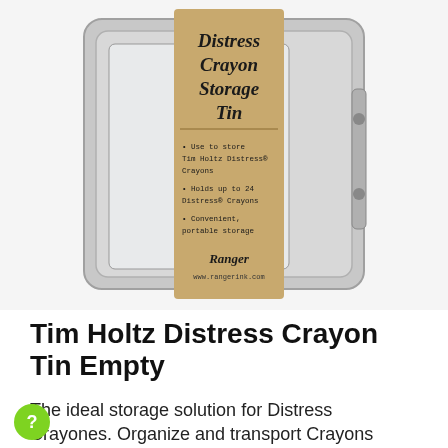[Figure (photo): Photo of Tim Holtz Distress Crayon Storage Tin — a silver metal tin with clear window, hinged closure, and a kraft paper label reading 'Distress Crayon Storage Tin' with bullet points: Use to store Tim Holtz Distress® Crayons; Holds up to 24 Distress® Crayons; Convenient, portable storage. Ranger logo and www.rangerink.com at the bottom of the label.]
Tim Holtz Distress Crayon Tin Empty
The ideal storage solution for Distress Crayones. Organize and transport Crayons easily in this convenient tin. Features a clear window & hinged metal